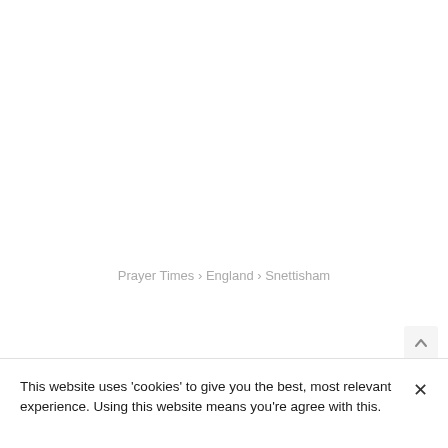Prayer Times › England › Snettisham
This website uses 'cookies' to give you the best, most relevant experience. Using this website means you're agree with this.